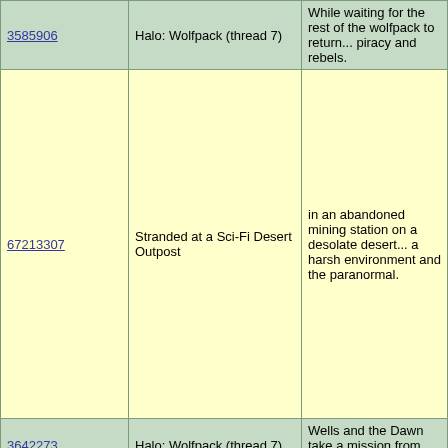| ID | Title | Description |
| --- | --- | --- |
| 3585906 | Halo: Wolfpack (thread 7) | While waiting for the rest of the wolfpack to return... piracy and rebels. |
| 67213307 | Stranded at a Sci-Fi Desert Outpost | in an abandoned mining station on a desolate desert... a harsh environment and the paranormal. |
| 3642273 | Halo: Wolfpack (thread 7) | Wells and the Dawn take a mission from ONI to hu... |
| Sep |  |  |
| 3799353 | Halo: Wolfpack (thread 9) | The Dawn continues it's operation in the rebel held... |
| Nov |  |  |
| 3901984 | Where the Seas Lay Still #2 | For the first time in a long time, you find Sanctuary... |